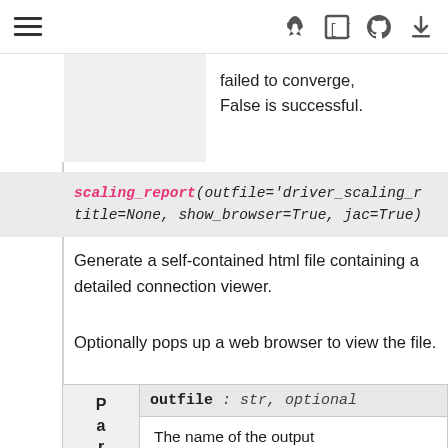Navigation bar with hamburger menu and icons
|  |  | failed to converge, False is successful. |
scaling_report(outfile='driver_scaling_r... title=None, show_browser=True, jac=True)
Generate a self-contained html file containing a detailed connection viewer.
Optionally pops up a web browser to view the file.
| Param | outfile : str, optional |
| --- | --- |
| P
a
r
a
m | The name of the output html file. Defaults to |